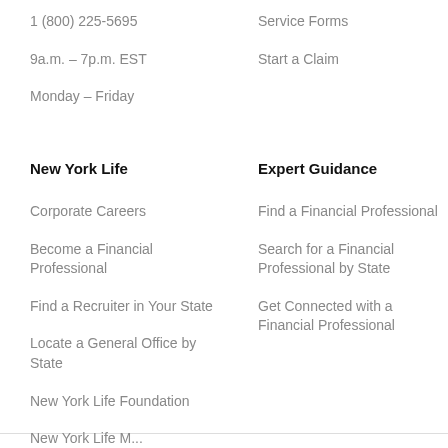1 (800) 225-5695
9a.m. – 7p.m. EST
Monday – Friday
Service Forms
Start a Claim
New York Life
Expert Guidance
Corporate Careers
Become a Financial Professional
Find a Recruiter in Your State
Locate a General Office by State
New York Life Foundation
Find a Financial Professional
Search for a Financial Professional by State
Get Connected with a Financial Professional
New York Life M...